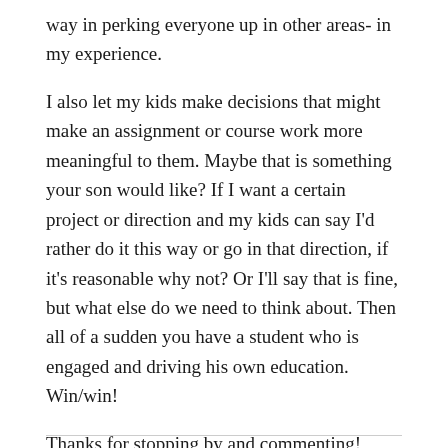way in perking everyone up in other areas- in my experience.
I also let my kids make decisions that might make an assignment or course work more meaningful to them. Maybe that is something your son would like? If I want a certain project or direction and my kids can say I'd rather do it this way or go in that direction, if it's reasonable why not? Or I'll say that is fine, but what else do we need to think about. Then all of a sudden you have a student who is engaged and driving his own education. Win/win!
Thanks for stopping by and commenting!